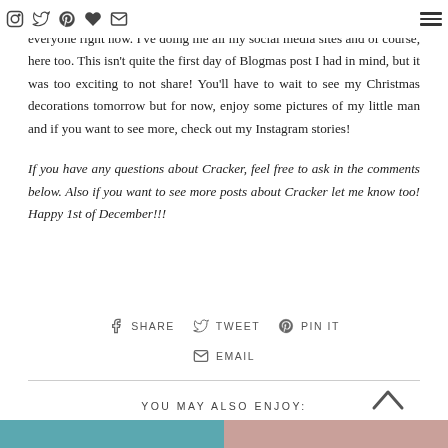Social media icons navigation bar
everyone right now. I've doing me all my social media sites and of course, here too. This isn't quite the first day of Blogmas post I had in mind, but it was too exciting to not share! You'll have to wait to see my Christmas decorations tomorrow but for now, enjoy some pictures of my little man and if you want to see more, check out my Instagram stories!
If you have any questions about Cracker, feel free to ask in the comments below. Also if you want to see more posts about Cracker let me know too! Happy 1st of December!!!
SHARE   TWEET   PIN IT   EMAIL
YOU MAY ALSO ENJOY:
[Figure (photo): Two thumbnail images at the bottom of the page]